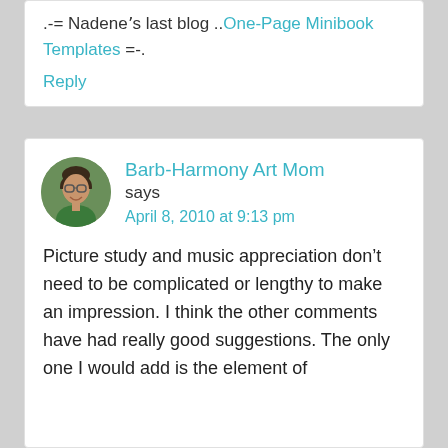.-= Nadeneʼs last blog ..One-Page Minibook Templates =-.
Reply
[Figure (photo): Circular avatar photo of a woman with dark hair and glasses, wearing a green top, smiling.]
Barb-Harmony Art Mom says April 8, 2010 at 9:13 pm
Picture study and music appreciation don’t need to be complicated or lengthy to make an impression. I think the other comments have had really good suggestions. The only one I would add is the element of